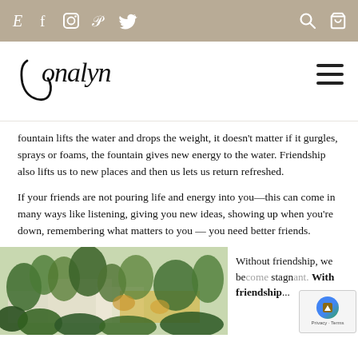E  f  [instagram]  P  [twitter]  [search]  [cart]
[Figure (logo): Jonalyn script logo with hamburger menu]
fountain lifts the water and drops the weight, it doesn't matter if it gurgles, sprays or foams, the fountain gives new energy to the water. Friendship also lifts us to new places and then us lets us return refreshed.
If your friends are not pouring life and energy into you—this can come in many ways like listening, giving you new ideas, showing up when you're down, remembering what matters to you — you need better friends.
[Figure (illustration): Watercolor painting of a garden with trees, buildings and foliage in greens and yellows]
Without friendship, we be... stagn... With friendship...